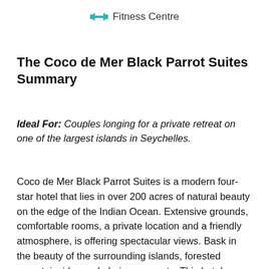⟷ Fitness Centre
The Coco de Mer Black Parrot Suites Summary
Ideal For: Couples longing for a private retreat on one of the largest islands in Seychelles.
Coco de Mer Black Parrot Suites is a modern four-star hotel that lies in over 200 acres of natural beauty on the edge of the Indian Ocean. Extensive grounds, comfortable rooms, a private location and a friendly atmosphere, is offering spectacular views. Bask in the beauty of the surrounding islands, forested mountainsides and glorious sunsets. This hotel named after the uniquely rare Coco de Mer Palm tree, which